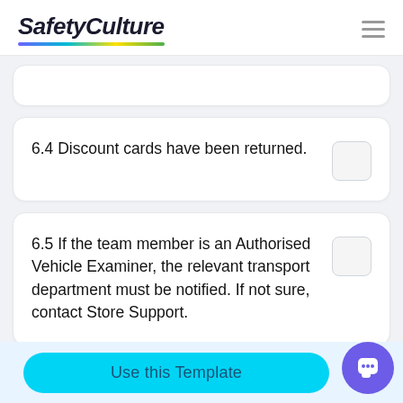SafetyCulture
6.4 Discount cards have been returned.
6.5 If the team member is an Authorised Vehicle Examiner, the relevant transport department must be notified. If not sure, contact Store Support.
Use this Template